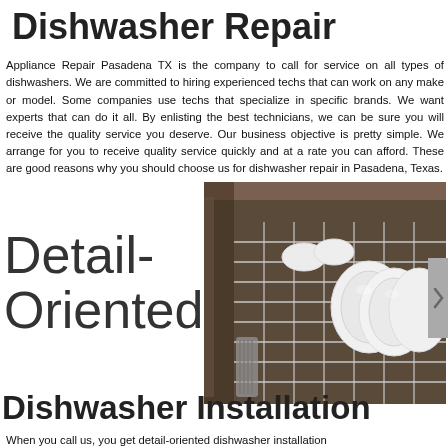Dishwasher Repair
Appliance Repair Pasadena TX is the company to call for service on all types of dishwashers. We are committed to hiring experienced techs that can work on any make or model. Some companies use techs that specialize in specific brands. We want experts that can do it all. By enlisting the best technicians, we can be sure you will receive the quality service you deserve. Our business objective is pretty simple. We arrange for you to receive quality service quickly and at a rate you can afford. These are good reasons why you should choose us for dishwasher repair in Pasadena, Texas.
Detail-Oriented
[Figure (photo): Close-up photo of an open dishwasher rack loaded with white plates, bowls, and silverware/utensils in the basket]
Dishwasher Installation
When you call us, you get detail-oriented dishwasher installation